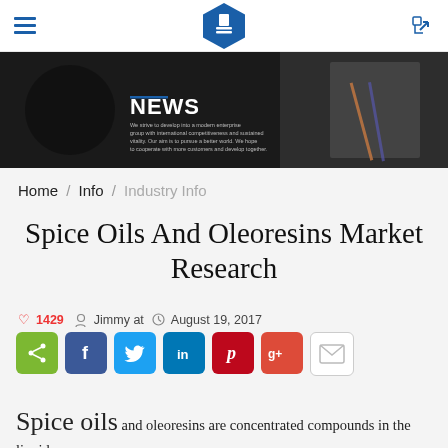Navigation bar with hamburger menu, hexagon logo, and share icon
[Figure (photo): Dark banner image with camera/headphones, pencils and notebook on right side, with NEWS heading and subtitle text]
Home / Info / Industry Info
Spice Oils And Oleoresins Market Research
1429  Jimmy at  August 19, 2017
[Figure (infographic): Social sharing buttons: share (green), Facebook (blue), Twitter (light blue), LinkedIn (blue), Pinterest (red), Google+ (red-orange), Email (white/gray border)]
Spice oils and oleoresins are concentrated compounds in the liquid